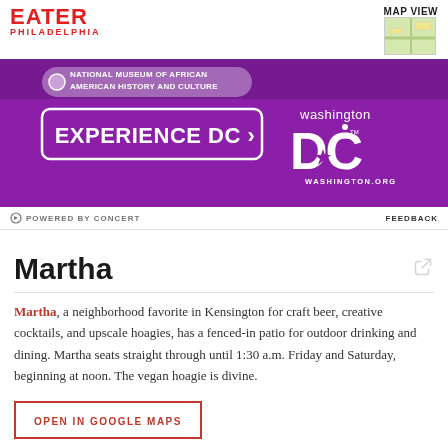EATER PHILADELPHIA
[Figure (infographic): Washington DC Experience DC advertisement banner with purple background, National Museum of African American History and Culture badge, Experience DC button, and Washington DC logo with washington.org]
POWERED BY CONCERT    FEEDBACK
Martha
Martha, a neighborhood favorite in Kensington for craft beer, creative cocktails, and upscale hoagies, has a fenced-in patio for outdoor drinking and dining. Martha seats straight through until 1:30 a.m. Friday and Saturday, beginning at noon. The vegan hoagie is divine.
OPEN IN GOOGLE MAPS